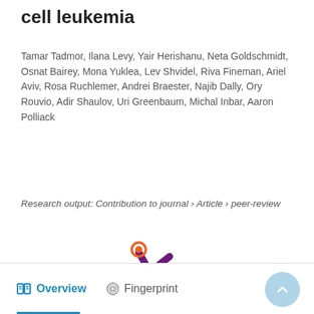cell leukemia
Tamar Tadmor, Ilana Levy, Yair Herishanu, Neta Goldschmidt, Osnat Bairey, Mona Yuklea, Lev Shvidel, Riva Fineman, Ariel Aviv, Rosa Ruchlemer, Andrei Braester, Najib Dally, Ory Rouvio, Adir Shaulov, Uri Greenbaum, Michal Inbar, Aaron Polliack
Clinical Departments
Research output: Contribution to journal › Article › peer-review
[Figure (logo): Stylized asterisk/splat logo in dark purple with an orange circle and a purple circle, representing a research portal or publisher logo]
Overview   Fingerprint